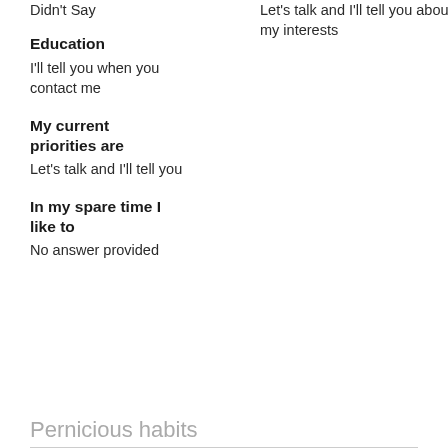Didn't Say
Let's talk and I'll tell you about my interests
Education
I'll tell you when you contact me
My current priorities are
Let's talk and I'll tell you
In my spare time I like to
No answer provided
Pernicious habits